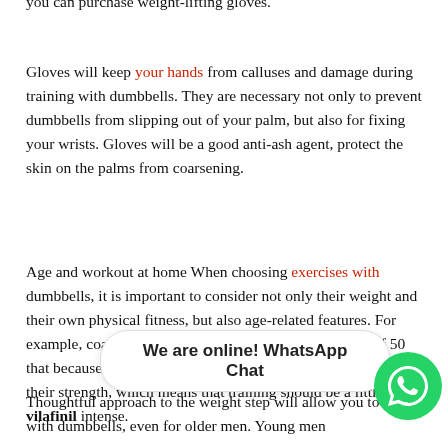you can purchase weight-lifting gloves.
Gloves will keep your hands from calluses and damage during training with dumbbells. They are necessary not only to prevent dumbbells from slipping out of your palm, but also for fixing your wrists. Gloves will be a good anti-ash agent, protect the skin on the palms from coarsening.
Age and workout at home When choosing exercises with dumbbells, it is important to consider not only their weight and their own physical fitness, but also age-related features. For example, coaches and doctors remind men over the age of 50 that because of hormonal changes, the joints and ligaments lose their strength, which means that training should be a little less vilafinil intense.
We are online! WhatsApp Chat
Thoughtful approach to the weight step will allow you to work with dumbbells, even for older men. Young men